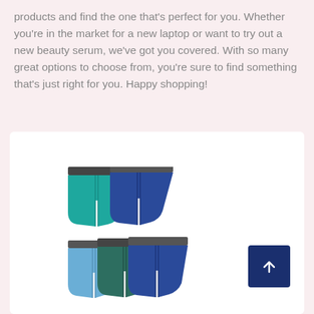products and find the one that's perfect for you. Whether you're in the market for a new laptop or want to try out a new beauty serum, we've got you covered. With so many great options to choose from, you're sure to find something that's just right for you. Happy shopping!
[Figure (photo): Product image showing two rows of men's boxer briefs in assorted colors: top row has teal and navy; bottom row has light blue, dark teal, and navy. A dark navy scroll-to-top button with an upward arrow is in the bottom right corner.]